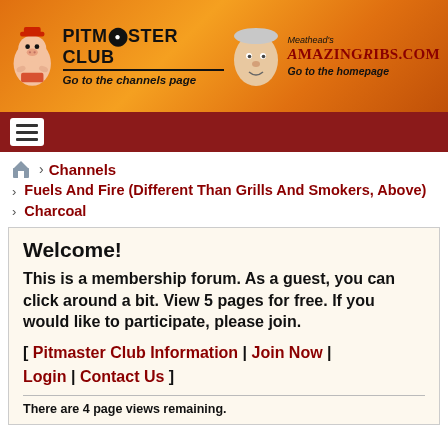[Figure (screenshot): Pitmaster Club and AmazingRibs.com header banner with orange flame background, cartoon pig mascot on the left and Meathead caricature on the right]
PITMASTER CLUB | Go to the channels page | Meathead's AMAZINGRIBS.COM | Go to the homepage
[Figure (other): Dark red navigation bar with hamburger menu icon]
> Channels
> Fuels And Fire (Different Than Grills And Smokers, Above)
> Charcoal
Welcome!
This is a membership forum. As a guest, you can click around a bit. View 5 pages for free. If you would like to participate, please join.
[ Pitmaster Club Information | Join Now | Login | Contact Us ]
There are 4 page views remaining.